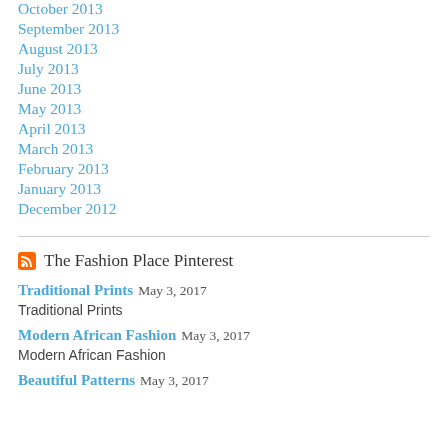October 2013
September 2013
August 2013
July 2013
June 2013
May 2013
April 2013
March 2013
February 2013
January 2013
December 2012
The Fashion Place Pinterest
Traditional Prints May 3, 2017
Traditional Prints
Modern African Fashion May 3, 2017
Modern African Fashion
Beautiful Patterns May 3, 2017